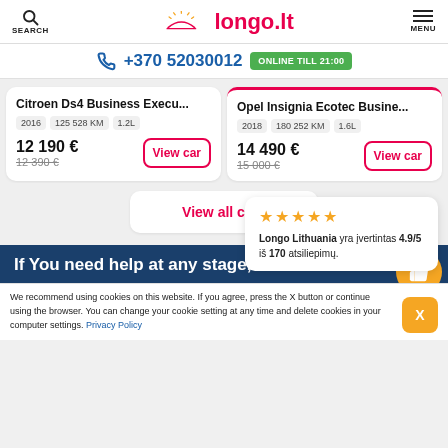SEARCH   longo.lt   MENU
+370 52030012  ONLINE TILL 21:00
Citroen Ds4 Business Execu...  2016  125 528 KM  1.2L  12 190 €  12 390 €  View car
Opel Insignia Ecotec Busine...  2018  180 252 KM  1.6L  14 490 €  15 000 €  View car
View all cars
Longo Lithuania yra įvertintas 4.9/5 iš 170 atsiliepimų.
If You need help at any stage, do not he
We recommend using cookies on this website. If you agree, press the X button or continue using the browser. You can change your cookie setting at any time and delete cookies in your computer settings. Privacy Policy